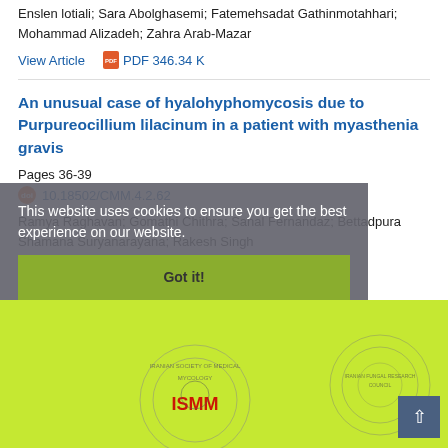Enslen lotiali; Sara Abolghasemi; Fatemehsadat Gathinmotahhari; Mohammad Alizadeh; Zahra Arab-Mazar
View Article   PDF 346.34 K
An unusual case of hyalohyphomycosis due to Purpureocillium lilacinum in a patient with myasthenia gravis
Pages 36-39
10.18502/CMM.4.2.62
Ramya Raghavan; Gomathi Chithra; Sanal Fernandaz; Bettadpura Shamana Suryanarayana; Rakesh Singh
View Article   PDF 385.49 K
This website uses cookies to ensure you get the best experience on our website.
Got it!
[Figure (logo): ISMM logo (circular seal) and another institutional research council logo on a lime green banner background]